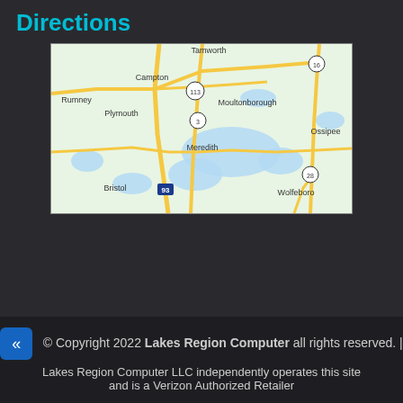Directions
[Figure (map): Google Maps style road map showing Lakes Region of New Hampshire, including towns: Tamworth, Campton, Rumney, Plymouth, Moultonborough, Meredith, Bristol, Ossipee, Wolfeboro, with roads including Route 113, Route 16, Route 3, Route 28, I-93, and lake water features.]
© Copyright 2022 Lakes Region Computer all rights reserved. | Lakes Region Computer LLC independently operates this site and is a Verizon Authorized Retailer